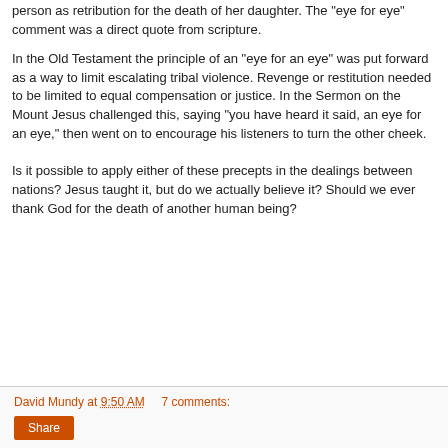person as retribution for the death of her daughter. The "eye for eye" comment was a direct quote from scripture.
In the Old Testament the principle of an "eye for an eye" was put forward as a way to limit escalating tribal violence. Revenge or restitution needed to be limited to equal compensation or justice. In the Sermon on the Mount Jesus challenged this, saying "you have heard it said, an eye for an eye," then went on to encourage his listeners to turn the other cheek.
Is it possible to apply either of these precepts in the dealings between nations? Jesus taught it, but do we actually believe it? Should we ever thank God for the death of another human being?
David Mundy at 9:50 AM   7 comments:   Share